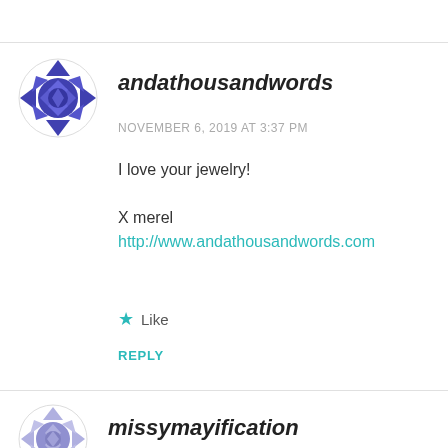[Figure (illustration): Circular avatar icon with blue/purple geometric pattern for user andathousandwords]
andathousandwords
NOVEMBER 6, 2019 AT 3:37 PM
I love your jewelry!

X merel
http://www.andathousandwords.com
Like
REPLY
[Figure (illustration): Circular avatar icon with light purple/lavender geometric pattern for user missymayification]
missymayification